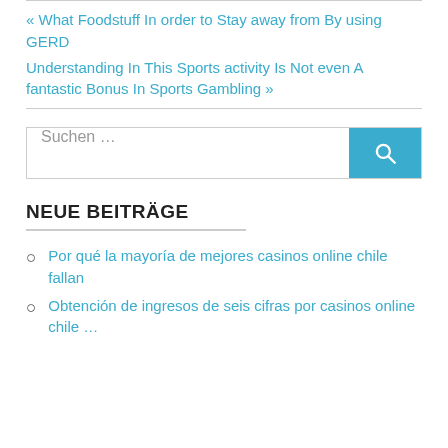« What Foodstuff In order to Stay away from By using GERD
Understanding In This Sports activity Is Not even A fantastic Bonus In Sports Gambling »
Suchen …
NEUE BEITRÄGE
Por qué la mayoría de mejores casinos online chile fallan
Obtención de ingresos de seis cifras por casinos online chile …